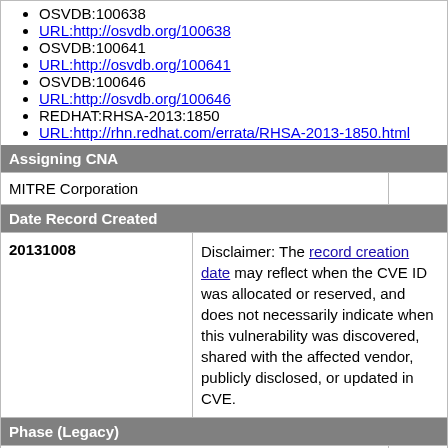OSVDB:100638
URL:http://osvdb.org/100638
OSVDB:100641
URL:http://osvdb.org/100641
OSVDB:100646
URL:http://osvdb.org/100646
REDHAT:RHSA-2013:1850
URL:http://rhn.redhat.com/errata/RHSA-2013-1850.html
Assigning CNA
MITRE Corporation
Date Record Created
20131008
Disclaimer: The record creation date may reflect when the CVE ID was allocated or reserved, and does not necessarily indicate when this vulnerability was discovered, shared with the affected vendor, publicly disclosed, or updated in CVE.
Phase (Legacy)
Assigned (20131008)
Votes (Legacy)
Comments (Legacy)